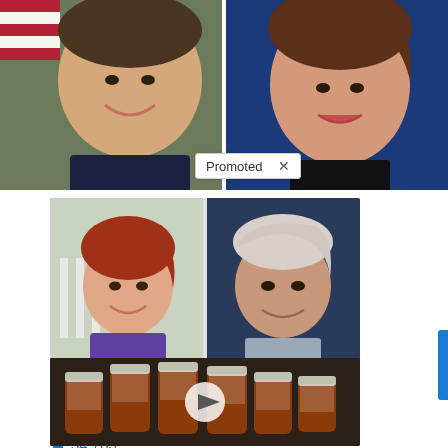[Figure (photo): Two political figures side by side: a smiling man on the left against US flag background, a woman speaking on the right against blue background. A 'Promoted X' badge overlays the bottom center.]
[Figure (photo): Two people side by side: a smiling red-haired woman on the left (Jen Psaki), an older man on the right (Joe Biden)]
Most People Don't Know These Facts About Jen Psaki (#2 Is Shocking!)
🔥 34,703
[Figure (photo): Several amber prescription pill bottles arranged on a surface, with a video play button overlay]
4 Worst Blood Pressure Drugs (Avoid At All Costs)
🔥 30,114